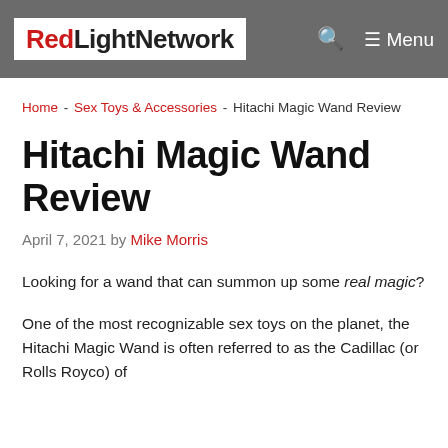RedLightNetwork  Menu
Home - Sex Toys & Accessories - Hitachi Magic Wand Review
Hitachi Magic Wand Review
April 7, 2021 by Mike Morris
Looking for a wand that can summon up some real magic?
One of the most recognizable sex toys on the planet, the Hitachi Magic Wand is often referred to as the Cadillac (or Rolls Royco) of